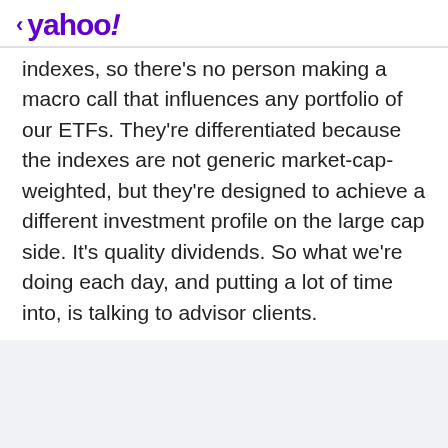< yahoo!
indexes, so there's no person making a macro call that influences any portfolio of our ETFs. They're differentiated because the indexes are not generic market-cap-weighted, but they're designed to achieve a different investment profile on the large cap side. It's quality dividends. So what we're doing each day, and putting a lot of time into, is talking to advisor clients.
Advertisement
View comments